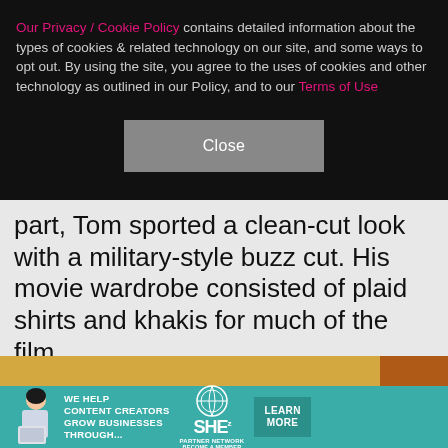Our Privacy / Cookie Policy contains detailed information about the types of cookies & related technology on our site, and some ways to opt out. By using the site, you agree to the uses of cookies and other technology as outlined in our Policy, and to our Terms of Use
Close
part, Tom sported a clean-cut look with a military-style buzz cut. His movie wardrobe consisted of plaid shirts and khakis for much of the film.
[Figure (photo): Upward angle photo of a movie theater sign with large yellow letters and an orange/brown column, showing partial text 'ES' on a dark metal marquee bracket]
[Figure (infographic): Advertisement banner: teal background with woman with laptop, text 'WE HELP CONTENT CREATORS GROW BUSINESSES THROUGH...', SHE Partner Network logo, and 'LEARN MORE' button]